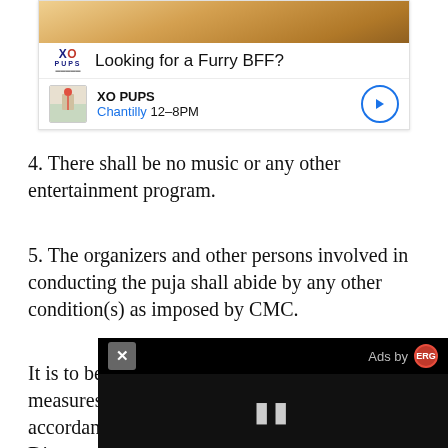[Figure (other): Advertisement banner for XO Pups pet store with a photo of a fluffy cat/dog, logo, headline 'Looking for a Furry BFF?', XO PUPS store info with Chantilly 12-8PM and map thumbnail with navigation button]
4. There shall be no music or any other entertainment program.
5. The organizers and other persons involved in conducting the puja shall abide by any other condition(s) as imposed by CMC.
It is to be noted that any person violating these measures will be liable to be proceeded in accordance with the provisions of se the Disaster Management Act, 2005 Diseases Act, 1897 and Regulations i besides legal action under Section 1
[Figure (screenshot): Video player overlay showing close button (X), 'Ads by ERG' label, black video area with pause button (II)]